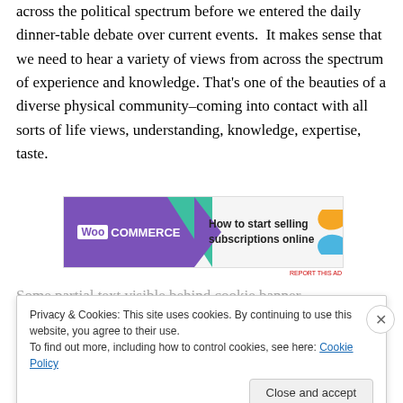across the political spectrum before we entered the daily dinner-table debate over current events.  It makes sense that we need to hear a variety of views from across the spectrum of experience and knowledge. That's one of the beauties of a diverse physical community–coming into contact with all sorts of life views, understanding, knowledge, expertise, taste.
[Figure (other): WooCommerce advertisement banner: purple left panel with WooCommerce logo, teal arrow shape, text 'How to start selling subscriptions online', decorative orange and blue shapes]
Privacy & Cookies: This site uses cookies. By continuing to use this website, you agree to their use.
To find out more, including how to control cookies, see here: Cookie Policy
Close and accept